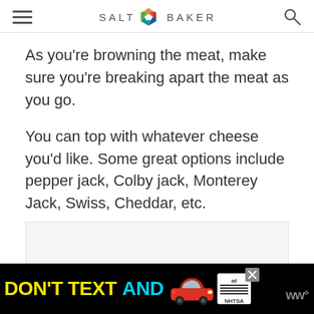SALT & BAKER
As you're browning the meat, make sure you're breaking apart the meat as you go.
You can top with whatever cheese you'd like. Some great options include pepper jack, Colby jack, Monterey Jack, Swiss, Cheddar, etc.
[Figure (other): Blank image placeholder area]
[Figure (other): Advertisement banner: DON'T TEXT AND [car image] with NHTSA ad badge and WW logo]